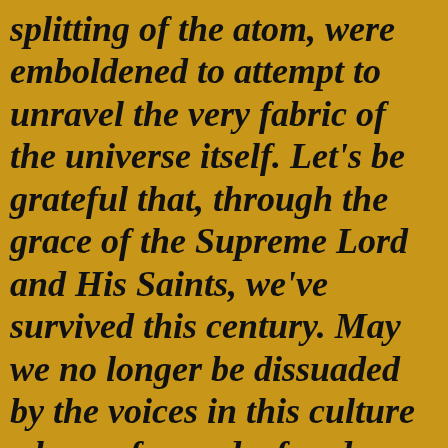splitting of the atom, were emboldened to attempt to unravel the very fabric of the universe itself. Let's be grateful that, through the grace of the Supreme Lord and His Saints, we've survived this century. May we no longer be dissuaded by the voices in this culture who prefer us deaf and blind, unable to have faith in any real Masters, since we've been